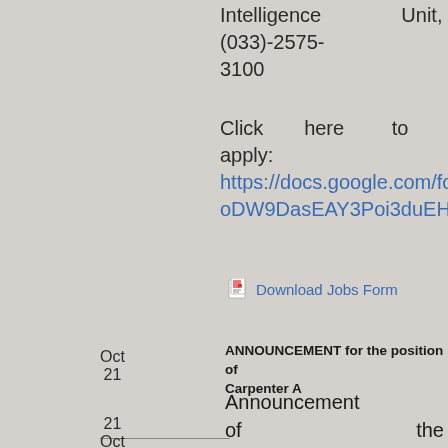Intelligence Unit, (033)-2575-3100
Click here to apply: https://docs.google.com/forms/d/1KuF oDW9DasEAY3Poi3duEH9F6vInR3F
Download Jobs Form
Oct 21
ANNOUNCEMENT for the position of Carpenter A
21 Oct
Announcement of the recruitment process for the recruitment of Carpenter 'A' against advertisement No.REC 7/2019-3, Kol dated 03 August 2019.